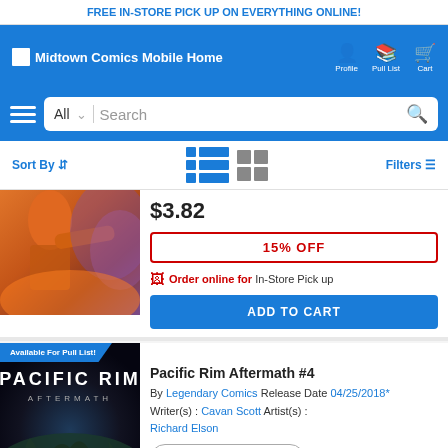FREE IN-STORE PICK UP ON EVERYTHING ONLINE!
[Figure (screenshot): Midtown Comics Mobile Home navigation header with Profile, Pull List, and Cart icons on blue background]
[Figure (screenshot): Search bar with hamburger menu, All dropdown, Search input, and magnifying glass icon]
Sort By | Filters
[Figure (photo): Partial comic book cover showing character in orange jacket holding weapon with purple/fire background]
$3.82
15% OFF
Order online for In-Store Pick up
ADD TO CART
Available For Pull List!
[Figure (photo): Pacific Rim Aftermath comic book cover with dark background, monster tentacles at bottom, title in large letters]
Pacific Rim Aftermath #4
By Legendary Comics Release Date 04/25/2018* Writer(s) : Cavan Scott Artist(s) : Richard Elson
Near Mint - $4.05